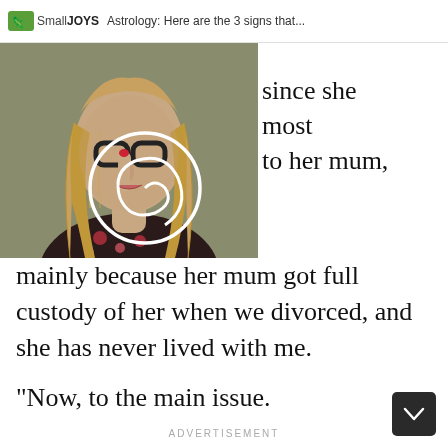SmallJOYS  Astrology: Here are the 3 signs that...
[Figure (photo): A woman with long blonde hair wearing a floral top and thick-rimmed glasses, holding her finger to her lips in a shushing gesture. A white circle/spiral is drawn over the glasses area.]
since she most to her mum, mainly because her mum got full custody of her when we divorced, and she has never lived with me.
“Now, to the main issue.
ADVERTISEMENT